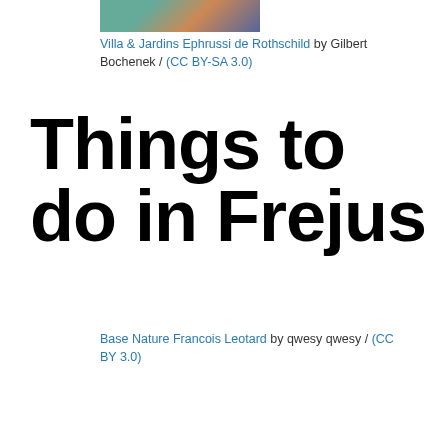[Figure (photo): Partial photo of Villa & Jardins Ephrussi de Rothschild, cropped at top]
Villa & Jardins Ephrussi de Rothschild by Gilbert Bochenek / (CC BY-SA 3.0)
Things to do in Frejus
Base Nature Francois Leotard by qwesy qwesy / (CC BY 3.0)